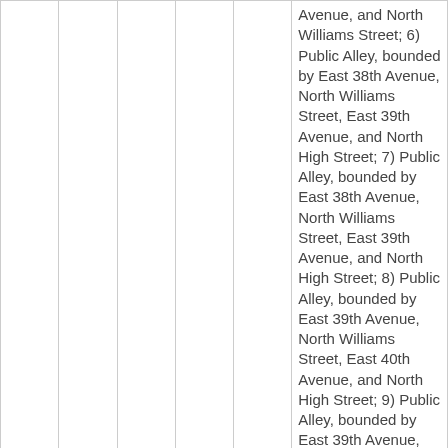|  |  |  |  |  | Avenue, and North Williams Street; 6) Public Alley, bounded by East 38th Avenue, North Williams Street, East 39th Avenue, and North High Street; 7) Public Alley, bounded by East 38th Avenue, North Williams Street, East 39th Avenue, and North High Street; 8) Public Alley, bounded by East 39th Avenue, North Williams Street, East 40th Avenue, and North High Street; 9) Public Alley, bounded by East 39th Avenue, North Williams Street, East 40th Avenue, and |